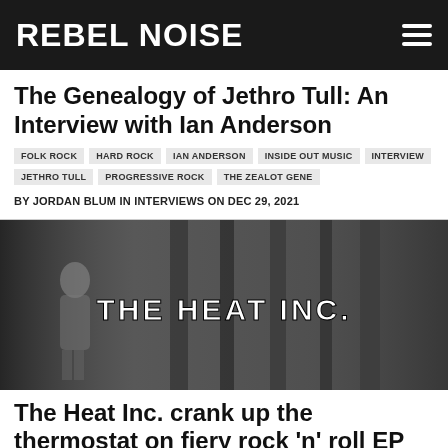REBEL NOISE
The Genealogy of Jethro Tull: An Interview with Ian Anderson
FOLK ROCK  HARD ROCK  IAN ANDERSON  INSIDE OUT MUSIC  INTERVIEW  JETHRO TULL  PROGRESSIVE ROCK  THE ZEALOT GENE
BY JORDAN BLUM IN INTERVIEWS ON DEC 29, 2021
[Figure (photo): Black and white image of The Heat Inc. - a woman in a dress standing in an alley with text THE HEAT INC. overlaid]
The Heat Inc. crank up the thermostat on fiery rock 'n' roll EP
ALT-ROCK  ALTERNATIVE ROCK  GARAGE ROCK  HARD ROCK  MELTED